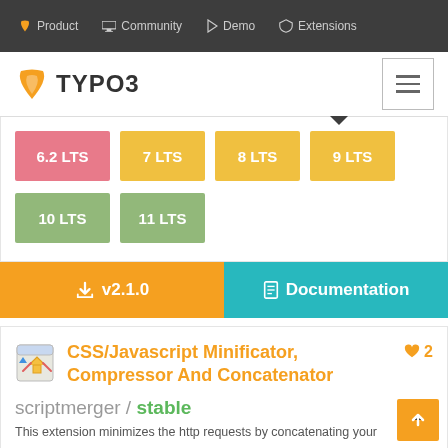Product | Community | Demo | Extensions
[Figure (logo): TYPO3 logo with orange shield/flame icon and text TYPO3]
6.2 LTS
7 LTS
8 LTS
9 LTS
10 LTS
11 LTS
↓ v2.1.0
Documentation
CSS/Javascript Minificator, Compressor And Concatenator
scriptmerger / stable
This extension minimizes the http requests by concatenating your